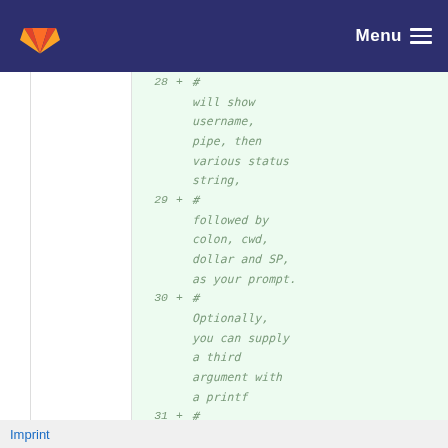GitLab — Menu
28 + # will show username, pipe, then various status string,
29 + # followed by colon, cwd, dollar and SP, as your prompt.
30 + # Optionally, you can supply a third argument with a printf
31 + # format string
Imprint